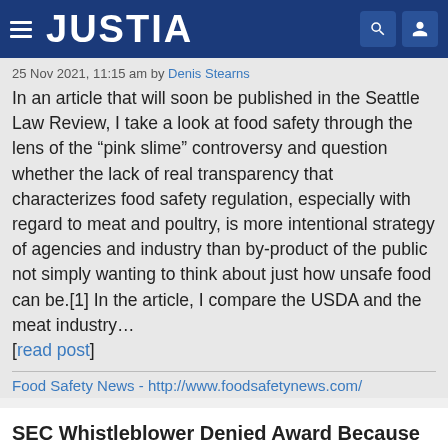JUSTIA
25 Nov 2021, 11:15 am by Denis Stearns
In an article that will soon be published in the Seattle Law Review, I take a look at food safety through the lens of the “pink slime” controversy and question whether the lack of real transparency that characterizes food safety regulation, especially with regard to meat and poultry, is more intentional strategy of agencies and industry than by-product of the public not simply wanting to think about just how unsafe food can be.[1] In the article, I compare the USDA and the meat industry… [read post]
Food Safety News - http://www.foodsafetynews.com/
SEC Whistleblower Denied Award Because He Made Disclosure Before Program Existed
3 Jan 2021, 7:00 am by Geoff Schweller